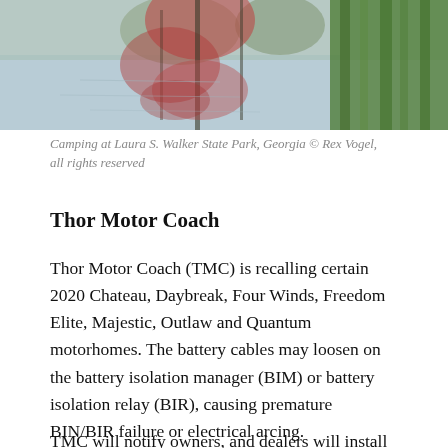[Figure (photo): Reflection of trees and red foliage in a calm lake or pond at a state park, with green reeds on the right side]
Camping at Laura S. Walker State Park, Georgia © Rex Vogel, all rights reserved
Thor Motor Coach
Thor Motor Coach (TMC) is recalling certain 2020 Chateau, Daybreak, Four Winds, Freedom Elite, Majestic, Outlaw and Quantum motorhomes. The battery cables may loosen on the battery isolation manager (BIM) or battery isolation relay (BIR), causing premature BIN/BIR failure or electrical arcing.
TMC will notify owners, and dealers will install